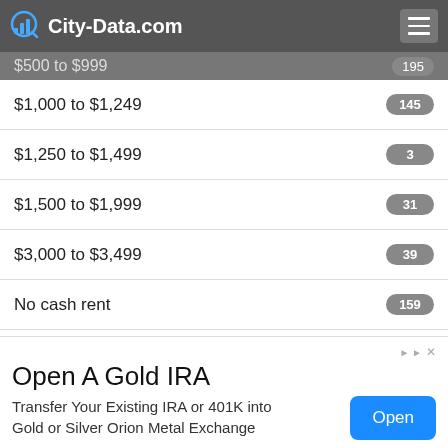City-Data.com
$500 to $999  195
$1,000 to $1,249  145
$1,250 to $1,499  3
$1,500 to $1,999  31
$3,000 to $3,499  39
No cash rent  159
Median gross rent in 2019: $835.
[Figure (other): Advertisement: Open A Gold IRA - Transfer Your Existing IRA or 401K into Gold or Silver Orion Metal Exchange. Open button.]